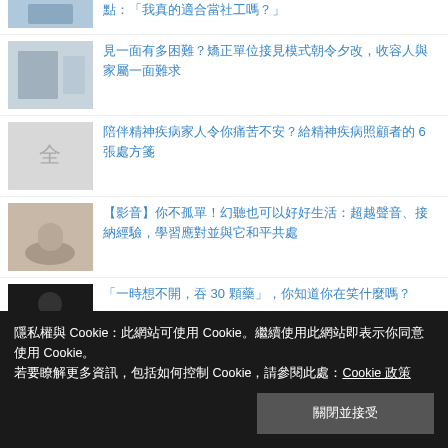見一面有多困難？矯正單位接見模式朝令夕改，收容人與家屬一面難求
陪伴精神疾病家人令你痛苦不安？給精神疾病照顧者的 6 張處方箋
【影音】你不孤單！幻聽也可以好好生活：超越聲音、接納經驗，學習應對並與它和平共處
「一時想不開，吞 30 顆藥」，你知道你在笑什麼嗎？
郭可盼／我可以和服務對象成為朋友嗎？社工與案主，那條無形浮動的界線
隱私權與 Cookie：此網站可使用 Cookie。繼續使用此網站即表示你同意使用 Cookie。
若要瞭解更多資訊，包括如何控制 Cookie，請參閱此處：Cookie 政策
關閉並接受